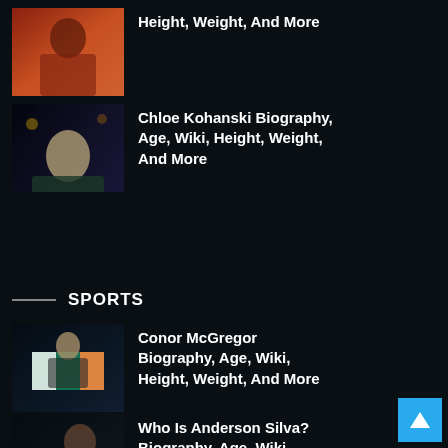Height, Weight, And More
[Figure (photo): Woman in orange dress, partial article thumbnail]
Chloe Kohanski Biography, Age, Wiki, Height, Weight, And More
[Figure (photo): Chloe Kohanski holding award in green dress on stage]
SPORTS
Conor McGregor Biography, Age, Wiki, Height, Weight, And More
[Figure (photo): Conor McGregor holding Irish flag celebrating]
Who Is Anderson Silva? Biography, Age, Wiki, Height, Weight, And More
[Figure (photo): Anderson Silva at a boxing/MMA event, Spider text visible]